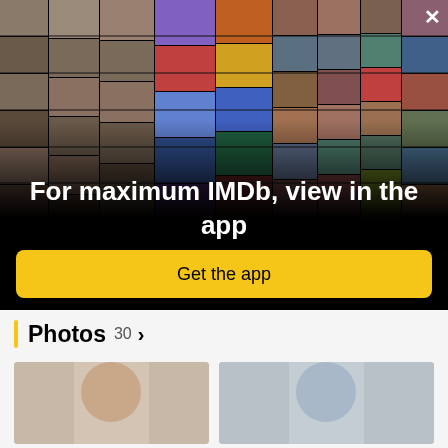[Figure (screenshot): IMDb app promotional overlay showing a collage of celebrity photos and movie posters arranged in a perspective grid on a black background, with a close (X) button in the top right corner.]
For maximum IMDb, view in the app
Get the app
Photos 30 >
[Figure (photo): Partial thumbnail photo, cropped at bottom of page (left)]
[Figure (photo): Partial thumbnail photo, cropped at bottom of page (right)]